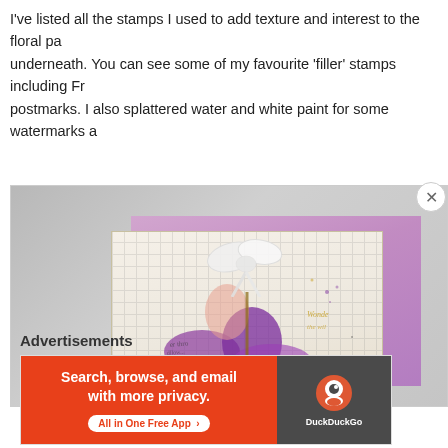I've listed all the stamps I used to add texture and interest to the floral pa underneath. You can see some of my favourite 'filler' stamps including Fr postmarks. I also splattered water and white paint for some watermarks a
[Figure (photo): A handmade greeting card with purple floral designs, watercolor flowers, grid paper background, and a white ribbon/bow on top, photographed on a gray surface.]
Advertisements
[Figure (screenshot): DuckDuckGo advertisement banner: orange left panel saying 'Search, browse, and email with more privacy. All in One Free App', right dark panel with DuckDuckGo duck logo.]